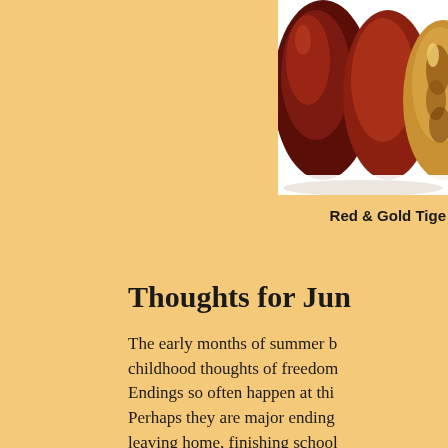[Figure (photo): Photograph of red and gold tiger eye beads or stones against a white background, partially cropped at top-right of page]
Red & Gold Tige
Thoughts for Jun
The early months of summer b childhood thoughts of freedom Endings so often happen at thi Perhaps they are major ending leaving home, finishing school some other major life event. T that have helped us get throug parts of the year break apart. W well done and yet there can be sadness. For the summer mont change in our lives whether wo There is a shedding that takes Not just of the heavy clothes w